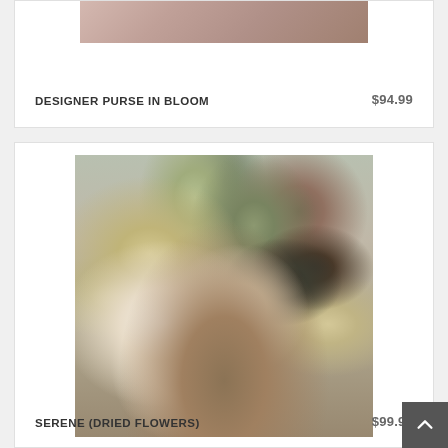[Figure (photo): Partial view of a floral arrangement in a purse, cropped at top of page]
DESIGNER PURSE IN BLOOM
$94.99
[Figure (photo): Dried flower arrangement on a wooden slice base, featuring white sola wood flowers, dried grasses, dark thistle, feathers, blue-grey succulent, and various dried botanicals]
SERENE (DRIED FLOWERS)
$99.99